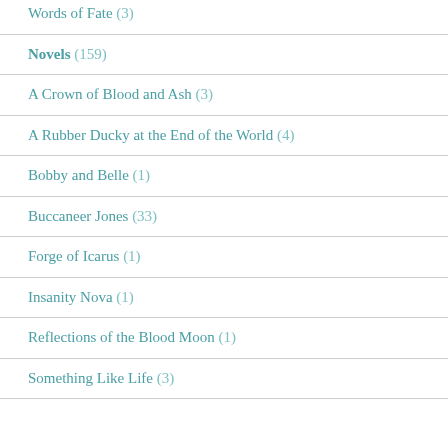Words of Fate (3)
Novels (159)
A Crown of Blood and Ash (3)
A Rubber Ducky at the End of the World (4)
Bobby and Belle (1)
Buccaneer Jones (33)
Forge of Icarus (1)
Insanity Nova (1)
Reflections of the Blood Moon (1)
Something Like Life (3)